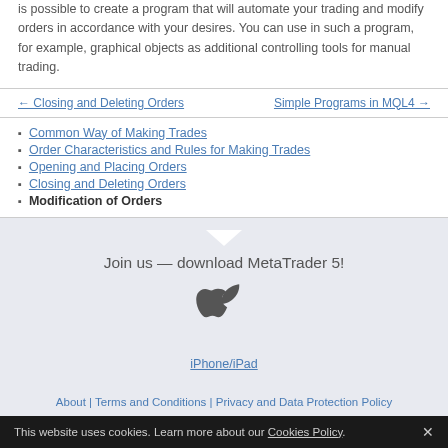is possible to create a program that will automate your trading and modify orders in accordance with your desires. You can use in such a program, for example, graphical objects as additional controlling tools for manual trading.
← Closing and Deleting Orders
Simple Programs in MQL4 →
Common Way of Making Trades
Order Characteristics and Rules for Making Trades
Opening and Placing Orders
Closing and Deleting Orders
Modification of Orders
Join us — download MetaTrader 5!
[Figure (logo): Apple logo (dark gray)]
iPhone/iPad
About | Terms and Conditions | Privacy and Data Protection Policy
This website uses cookies. Learn more about our Cookies Policy.